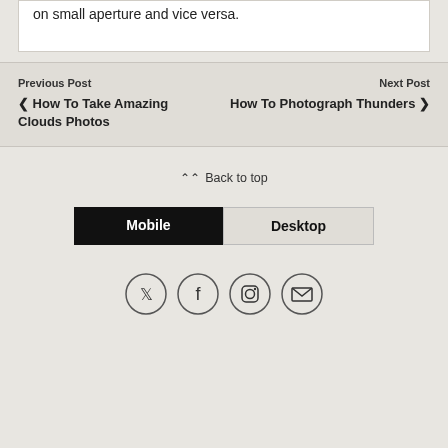on small aperture and vice versa.
Previous Post
❮ How To Take Amazing Clouds Photos
Next Post
How To Photograph Thunders ❯
⌃ Back to top
Mobile | Desktop
[Figure (other): Social media icons: Twitter, Facebook, Instagram, Email — circular outlined icons]